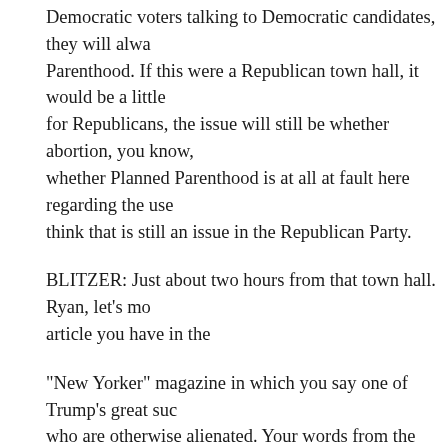Democratic voters talking to Democratic candidates, they will always ask about Planned Parenthood. If this were a Republican town hall, it would be a little different for Republicans, the issue will still be whether abortion, you know, whether Planned Parenthood is at all at fault here regarding the use -- I think that is still an issue in the Republican Party.
BLITZER: Just about two hours from that town hall. Ryan, let's move to the article you have in the
"New Yorker" magazine in which you say one of Trump's great successes -- who are otherwise alienated. Your words from the political process.
How potentially could this be a game-changer especially in these ea
LIZZA: Yes, I spent a lot of time in December and January going to -- his supporters.